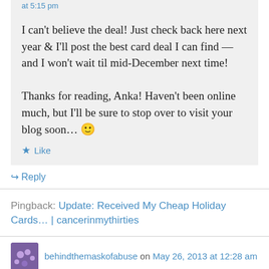at 5:15 pm
I can't believe the deal! Just check back here next year & I'll post the best card deal I can find — and I won't wait til mid-December next time!
Thanks for reading, Anka! Haven't been online much, but I'll be sure to stop over to visit your blog soon… 🙂
★ Like
↪ Reply
Pingback: Update: Received My Cheap Holiday Cards… | cancerinmythirties
behindthemaskofabuse on May 26, 2013 at 12:28 am